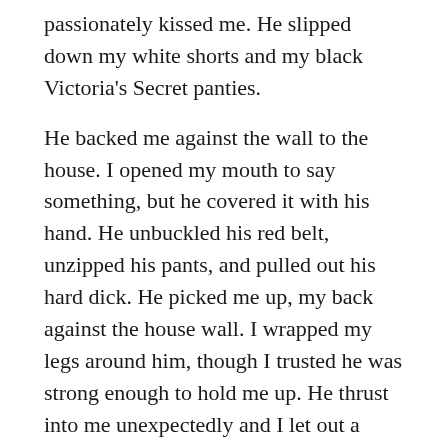passionately kissed me. He slipped down my white shorts and my black Victoria's Secret panties.
He backed me against the wall to the house. I opened my mouth to say something, but he covered it with his hand. He unbuckled his red belt, unzipped his pants, and pulled out his hard dick. He picked me up, my back against the house wall. I wrapped my legs around him, though I trusted he was strong enough to hold me up. He thrust into me unexpectedly and I let out a slight scream. He continued to thrust into me, moving my body down on him at the same time. I couldn't help, but scream and moan. Not a word nor sound came out of Ryan though. As I orgasmed I saw that Ryan's eyes were shut and he was biting his lip, something he commonly did when he was about to cum. And then I felt it. I felt him explode into me and I let out one last moan.